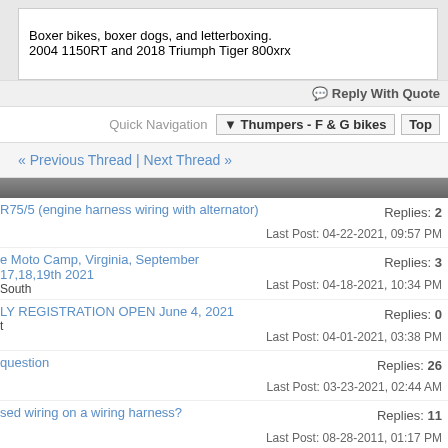Boxer bikes, boxer dogs, and letterboxing.
2004 1150RT and 2018 Triumph Tiger 800xrx
Reply With Quote
Quick Navigation  ▼ Thumpers - F & G bikes  Top
« Previous Thread | Next Thread »
R75/5 (engine harness wiring with alternator) — Replies: 2, Last Post: 04-22-2021, 09:57 PM
e Moto Camp, Virginia, September 17,18,19th 2021 / South — Replies: 3, Last Post: 04-18-2021, 10:34 PM
LY REGISTRATION OPEN June 4, 2021 / t — Replies: 0, Last Post: 04-01-2021, 03:38 PM
question — Replies: 26, Last Post: 03-23-2021, 02:44 AM
sed wiring on a wiring harness? — Replies: 11, Last Post: 08-28-2011, 01:17 PM